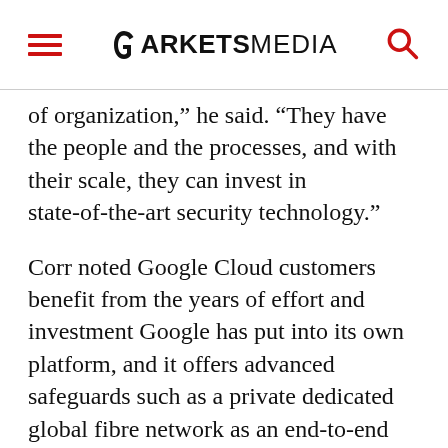MARKETS MEDIA
of organization,” he said. “They have the people and the processes, and with their scale, they can invest in state-of-the-art security technology.”
Corr noted Google Cloud customers benefit from the years of effort and investment Google has put into its own platform, and it offers advanced safeguards such as a private dedicated global fibre network as an end-to-end security model supported by more than